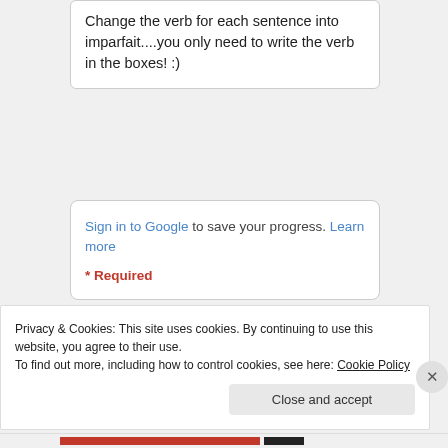Change the verb for each sentence into imparfait....you only need to write the verb in the boxes! :)
Sign in to Google to save your progress. Learn more
* Required
Nom: *
Your answer
Privacy & Cookies: This site uses cookies. By continuing to use this website, you agree to their use.
To find out more, including how to control cookies, see here: Cookie Policy
Close and accept